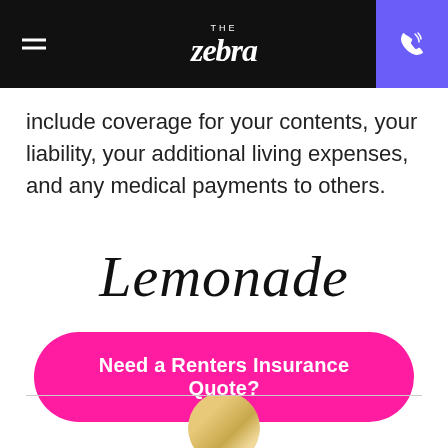THE Zebra
include coverage for your contents, your liability, your additional living expenses, and any medical payments to others.
[Figure (logo): Lemonade brand logo in cursive script font]
Need a Renters Insurance Quote?